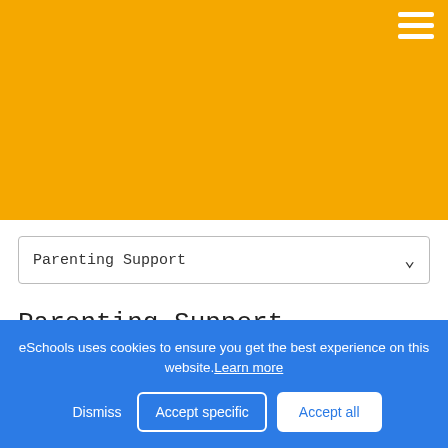[Figure (screenshot): Yellow/amber navigation header bar with hamburger menu icon (three white horizontal lines) in the top right corner]
Parenting Support
Parenting Support
eSchools uses cookies to ensure you get the best experience on this website. Learn more
Dismiss  Accept specific  Accept all